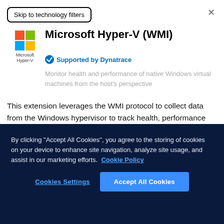Skip to technology filters
Microsoft Hyper-V (WMI)
Supported by Dynatrace
Monitor health and performance of native Windows virtual machines from the host's perspective
This extension leverages the WMI protocol to collect data from the Windows hypervisor to track health, performance and resource utilization of the VMs in the context of their host, so you can see both the big picture of the cluster and details of each VM.
By clicking "Accept All Cookies", you agree to the storing of cookies on your device to enhance site navigation, analyze site usage, and assist in our marketing efforts.  Cookie Policy
Cookies Settings
Accept All Cookies